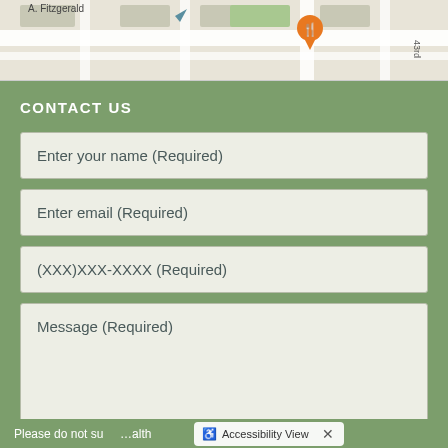[Figure (map): Street map snippet showing A. Fitzgerald area near 43rd street with an orange restaurant pin marker]
CONTACT US
Enter your name (Required)
Enter email (Required)
(XXX)XXX-XXXX (Required)
Message (Required)
Please do not su...alth
Accessibility View